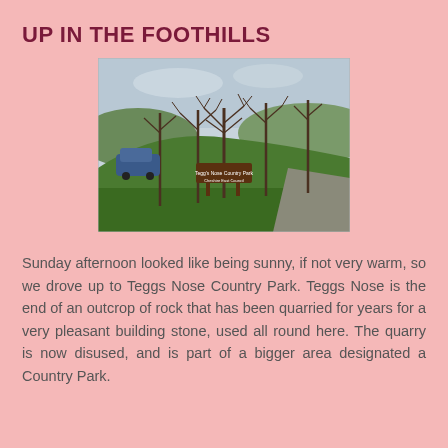UP IN THE FOOTHILLS
[Figure (photo): Entrance to Tegg's Nose Country Park, showing a wooden brown sign reading 'Tegg's Nose Country Park / Cheshire East Council', set on a green grassy hill with bare winter trees in the background, a car parked to the left, and a paved path to the right.]
Sunday afternoon looked like being sunny, if not very warm, so we drove up to Teggs Nose Country Park. Teggs Nose is the end of an outcrop of rock that has been quarried for years for a very pleasant building stone, used all round here. The quarry is now disused, and is part of a bigger area designated a Country Park.